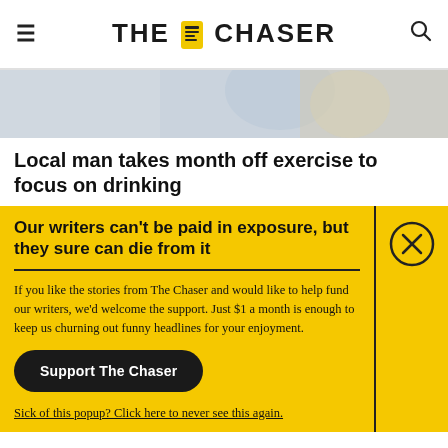THE CHASER
[Figure (photo): Partial hero image, blurred background with a water bottle or glass, light grey and beige tones]
Local man takes month off exercise to focus on drinking
Our writers can't be paid in exposure, but they sure can die from it
If you like the stories from The Chaser and would like to help fund our writers, we'd welcome the support. Just $1 a month is enough to keep us churning out funny headlines for your enjoyment.
Support The Chaser
Sick of this popup? Click here to never see this again.